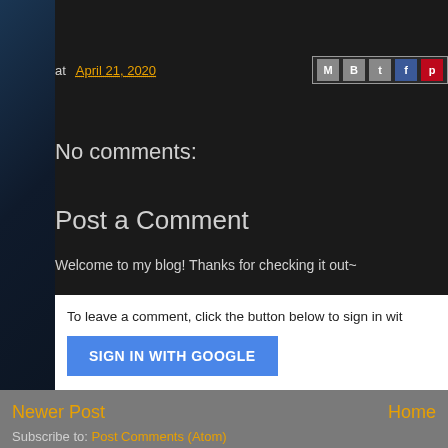at April 21, 2020
No comments:
Post a Comment
Welcome to my blog! Thanks for checking it out~
Note: Only a member of this blog may post a comment.
To leave a comment, click the button below to sign in wit
SIGN IN WITH GOOGLE
Newer Post
Home
Subscribe to: Post Comments (Atom)
Featured Post